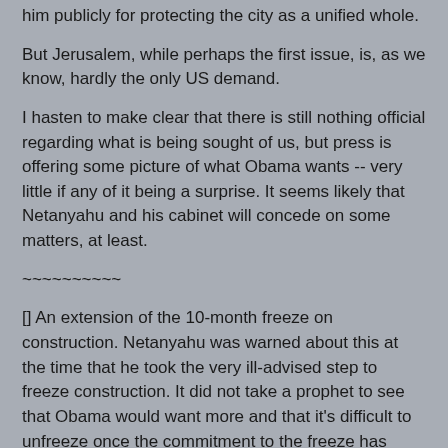him publicly for protecting the city as a unified whole.
But Jerusalem, while perhaps the first issue, is, as we know, hardly the only US demand.
I hasten to make clear that there is still nothing official regarding what is being sought of us, but press is offering some picture of what Obama wants -- very little if any of it being a surprise. It seems likely that Netanyahu and his cabinet will concede on some matters, at least.
~~~~~~~~~~
[] An extension of the 10-month freeze on construction. Netanyahu was warned about this at the time that he took the very ill-advised step to freeze construction. It did not take a prophet to see that Obama would want more and that it's difficult to unfreeze once the commitment to the freeze has been made. The prime minister has repeatedly pledged that construction would begin again at the end of the 10 months in September. We'll see.